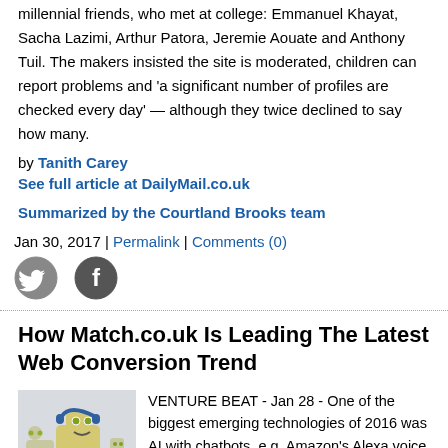millennial friends, who met at college: Emmanuel Khayat, Sacha Lazimi, Arthur Patora, Jeremie Aouate and Anthony Tuil. The makers insisted the site is moderated, children can report problems and 'a significant number of profiles are checked every day' — although they twice declined to say how many.
by Tanith Carey
See full article at DailylMail.co.uk
Summarized by the Courtland Brooks team
Jan 30, 2017 | Permalink | Comments (0)
[Figure (illustration): Twitter bird icon and Facebook F icon social media buttons]
How Match.co.uk Is Leading The Latest Web Conversion Trend
[Figure (illustration): Illustration of a robot with headphones and smaller robot characters]
VENTURE BEAT - Jan 28 - One of the biggest emerging technologies of 2016 was AI with chatbots. e.g. Amazon's Alexa voice assistant, Google Home and Microsoft